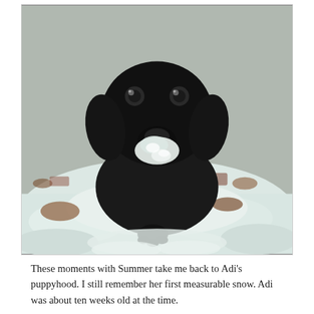[Figure (photo): A black Labrador puppy looking up at the camera with snow on its nose and face, surrounded by snow on the ground. Some brown ground/leaves are visible beneath the snow.]
These moments with Summer take me back to Adi's puppyhood. I still remember her first measurable snow. Adi was about ten weeks old at the time.